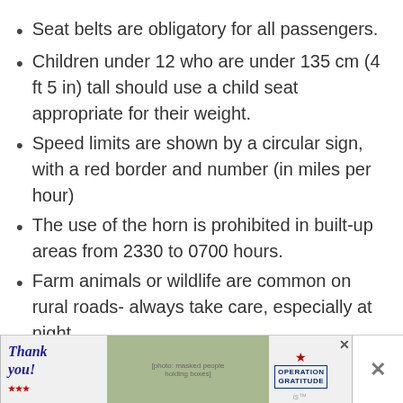Seat belts are obligatory for all passengers.
Children under 12 who are under 135 cm (4 ft 5 in) tall should use a child seat appropriate for their weight.
Speed limits are shown by a circular sign, with a red border and number (in miles per hour)
The use of the horn is prohibited in built-up areas from 2330 to 0700 hours.
Farm animals or wildlife are common on rural roads- always take care, especially at night
[Figure (photo): Advertisement banner showing 'Thank you!' text with American flag motif, photo of people wearing masks holding boxes, Operation Gratitude logo, and close buttons]